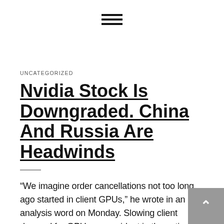≡
UNCATEGORIZED
Nvidia Stock Is Downgraded. China And Russia Are Headwinds
“We imagine order cancellations not too long ago started in client GPUs,” he wrote in an analysis word on Monday. Slowing client demand for GPUs was evident in the continuing reduction in graphics card pricing, he added. The cancellations are